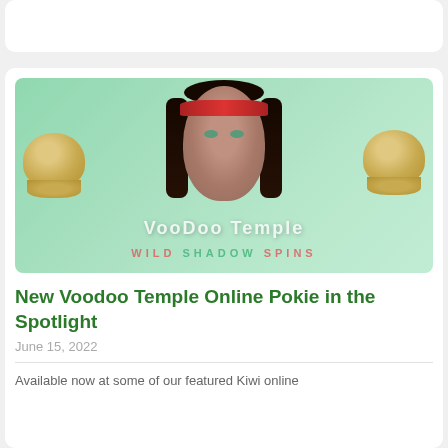[Figure (illustration): Voodoo Temple Shadow Spins online pokie game promotional image showing a voodoo woman with red headband flanked by two skulls on a green background with 'VOODOO TEMPLE' and 'SHADOW SPINS' text]
New Voodoo Temple Online Pokie in the Spotlight
June 15, 2022
Available now at some of our featured Kiwi online